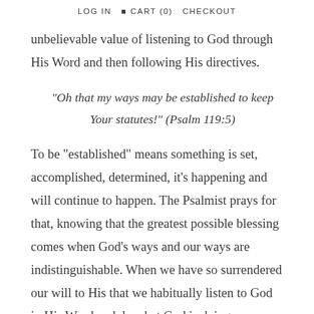LOG IN   CART (0)   CHECKOUT
unbelievable value of listening to God through His Word and then following His directives.
"Oh that my ways may be established to keep Your statutes!" (Psalm 119:5)
To be "established" means something is set, accomplished, determined, it's happening and will continue to happen. The Psalmist prays for that, knowing that the greatest possible blessing comes when God's ways and our ways are indistinguishable. When we have so surrendered our will to His that we habitually listen to God in His Word and do what God is doing.
At that point, the great prayer of the Lord's prayer